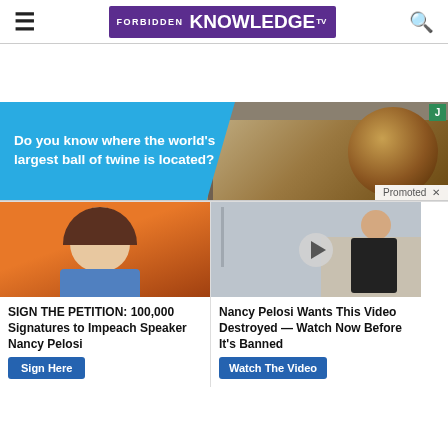FORBIDDEN KNOWLEDGE TV
[Figure (photo): Advertisement banner: blue panel with text 'Do you know where the world's largest ball of twine is located?' beside a photo of a large ball of twine under a shelter. Promoted label with X close button and J badge.]
[Figure (photo): Photo of Nancy Pelosi against orange background]
SIGN THE PETITION: 100,000 Signatures to Impeach Speaker Nancy Pelosi
[Figure (photo): Video thumbnail of Kamala Harris with play button overlay]
Nancy Pelosi Wants This Video Destroyed — Watch Now Before It's Banned